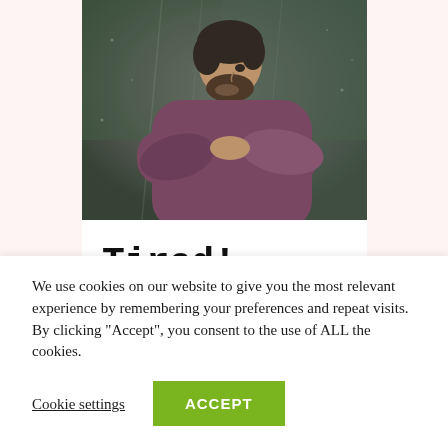[Figure (photo): A bearded man resting his chin on his folded arms, wearing a purple/mauve knit sweater, looking pensively out a rain-streaked window. Moody, muted tones.]
Tired!
Posted at hin Blog · Share
We use cookies on our website to give you the most relevant experience by remembering your preferences and repeat visits. By clicking "Accept", you consent to the use of ALL the cookies.
Cookie settings
ACCEPT